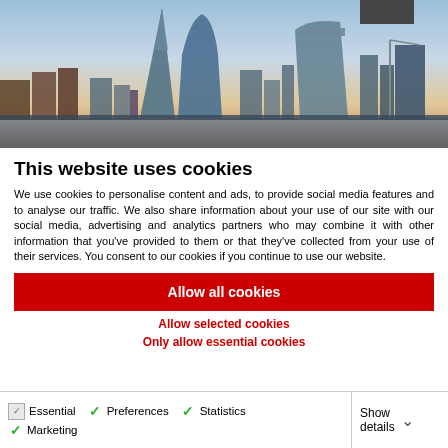[Figure (photo): London city skyline with modern skyscrapers including the Gherkin and Walkie-Talkie buildings against a blue sky at dusk]
This website uses cookies
We use cookies to personalise content and ads, to provide social media features and to analyse our traffic. We also share information about your use of our site with our social media, advertising and analytics partners who may combine it with other information that you've provided to them or that they've collected from your use of their services. You consent to our cookies if you continue to use our website.
Allow all cookies
Allow selected cookies
Only allow essential cookies
Essential  Preferences  Statistics  Marketing  Show details